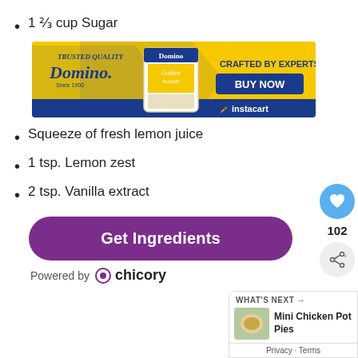1 ⅔ cup Sugar
[Figure (illustration): Domino sugar brand advertisement banner with yellow and blue design, Domino Golden Sugar product bag in center, 'CRAFTED BY EXPERTS' text on right, 'BUY NOW' button, and Instacart logo.]
Squeeze of fresh lemon juice
1 tsp. Lemon zest
2 tsp. Vanilla extract
[Figure (other): Get Ingredients purple button]
Powered by chicory
[Figure (other): Heart/favorite button with count 102 and share button on right side]
[Figure (other): What's Next card showing Mini Chicken Pot Pies with Privacy - Terms bar]